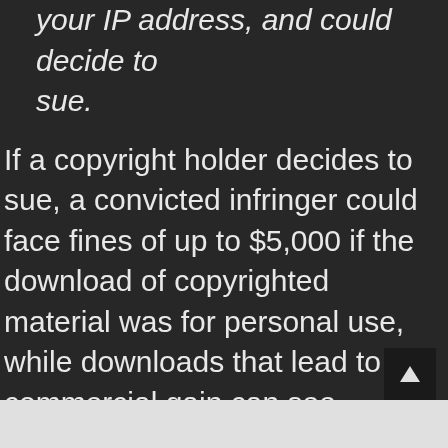your IP address, and could decide to sue.
If a copyright holder decides to sue, a convicted infringer could face fines of up to $5,000 if the download of copyrighted material was for personal use, while downloads that lead to commercial gain can see damages of up to $20,000.